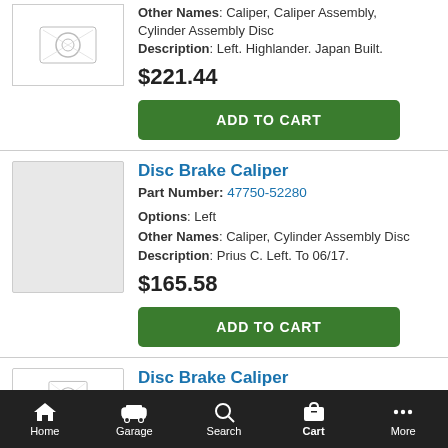Other Names: Caliper, Caliper Assembly, Cylinder Assembly Disc
Description: Left. Highlander. Japan Built.
$221.44
ADD TO CART
Disc Brake Caliper
Part Number: 47750-52280
Options: Left
Other Names: Caliper, Cylinder Assembly Disc
Description: Prius C. Left. To 06/17.
$165.58
ADD TO CART
Disc Brake Caliper
Home  Garage  Search  Cart  More